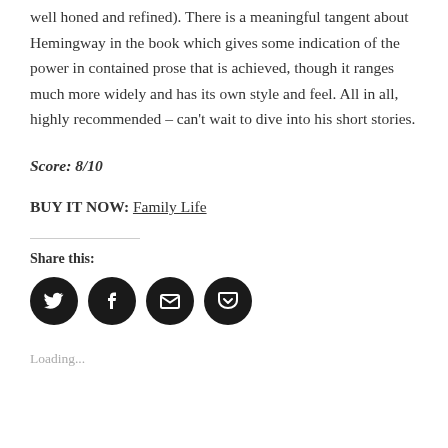well honed and refined). There is a meaningful tangent about Hemingway in the book which gives some indication of the power in contained prose that is achieved, though it ranges much more widely and has its own style and feel. All in all, highly recommended – can't wait to dive into his short stories.
Score: 8/10
BUY IT NOW: Family Life
Share this:
[Figure (infographic): Four circular social sharing buttons: Twitter, Facebook, Email, Pocket — all dark/black circles with white icons]
Loading...